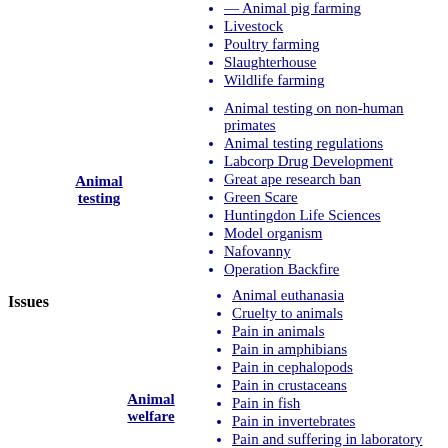Livestock
Poultry farming
Slaughterhouse
Wildlife farming
Animal testing on non-human primates
Animal testing regulations
Labcorp Drug Development
Great ape research ban
Green Scare
Huntingdon Life Sciences
Model organism
Nafovanny
Operation Backfire
Issues
Animal testing
Animal welfare
Animal euthanasia
Cruelty to animals
Pain in animals
Pain in amphibians
Pain in cephalopods
Pain in crustaceans
Pain in fish
Pain in invertebrates
Pain and suffering in laboratory